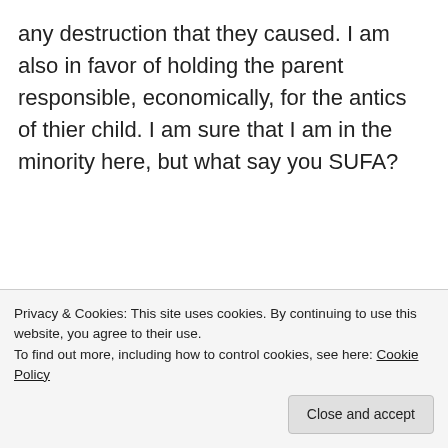any destruction that they caused. I am also in favor of holding the parent responsible, economically, for the antics of thier child. I am sure that I am in the minority here, but what say you SUFA?
Just A Citizen on December 10, 2010 at 10:20 am
D13
Privacy & Cookies: This site uses cookies. By continuing to use this website, you agree to their use.
To find out more, including how to control cookies, see here: Cookie Policy